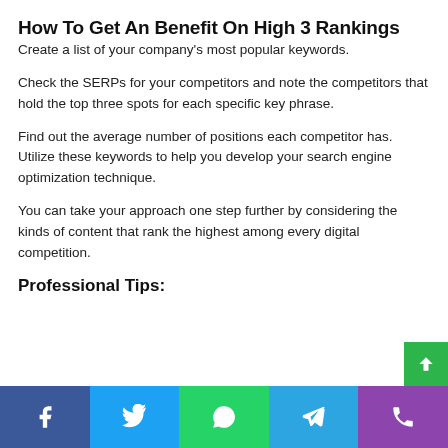How To Get An Benefit On High 3 Rankings
Create a list of your company’s most popular keywords.
Check the SERPs for your competitors and note the competitors that hold the top three spots for each specific key phrase.
Find out the average number of positions each competitor has. Utilize these keywords to help you develop your search engine optimization technique.
You can take your approach one step further by considering the kinds of content that rank the highest among every digital competition.
Professional Tips: